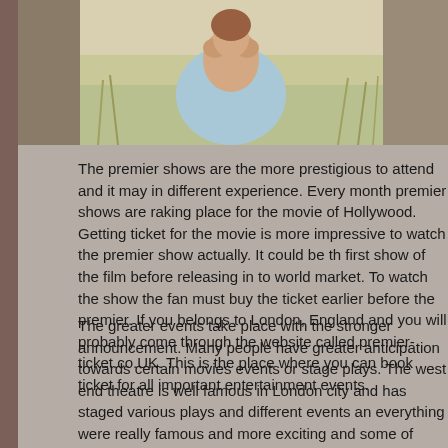[Figure (photo): Woman in a field with arms raised near face, wearing a light blue top, outdoor nature setting with tall grass]
The premier shows are the more prestigious to attend and it may in different experience. Every month premier shows are raking place for the movie of Hollywood. Getting ticket for the movie is more impressive to watch the premier show actually. It could be the first show of the film before releasing in to world market. To watch the show the fan must buy the ticket earlier before the premier. If you belongs to London, England and you will probably come through the website called premier-ticket.co.UK. This is the place where you can book ticket for all important entertainment events.
The greater events take place with the stronger announcement. Many people have greater anticipation towards certain movies events or stage plays. The west end theatre is well famous in London city and has staged various plays and different events and everything were really famous and more exciting and some of popular plays are lion king, les miserable, and war horse. If there any premier show available on the west end theatre it is easy to get the ticket for the premier event through the premier-...